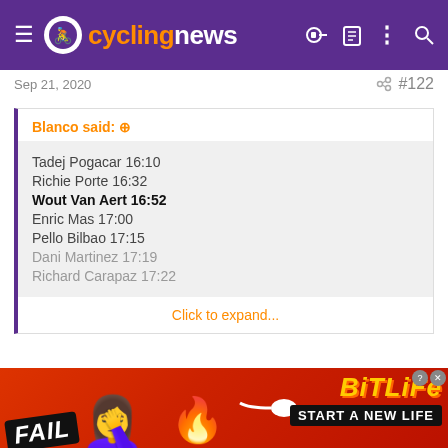cyclingnews
Sep 21, 2020  #122
Blanco said: ⊕
Tadej Pogacar 16:10
Richie Porte 16:32
Wout Van Aert 16:52
Enric Mas 17:00
Pello Bilbao 17:15
Dani Martinez 17:19
Richard Carapaz 17:22
Click to expand...
This is pretty damning. He beat all but two climbers. He's probably
[Figure (screenshot): BitLife advertisement banner with FAIL text, facepalm emoji, flames, and 'START A NEW LIFE' tagline]